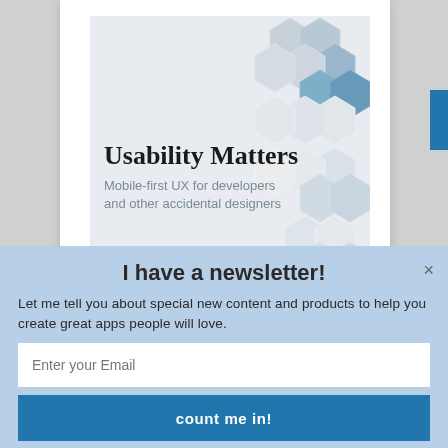[Figure (illustration): Book cover for 'Usability Matters: Mobile-first UX for developers and other accidental designers' by Matt Lacey. Light gray background with hexagonal geometric pattern in shades of gray and blue. Title in large bold black serif font. Subtitle in smaller gray sans-serif font. Author name at bottom left.]
I have a newsletter!
Let me tell you about special new content and products to help you create great apps people will love.
Enter your Email
count me in!